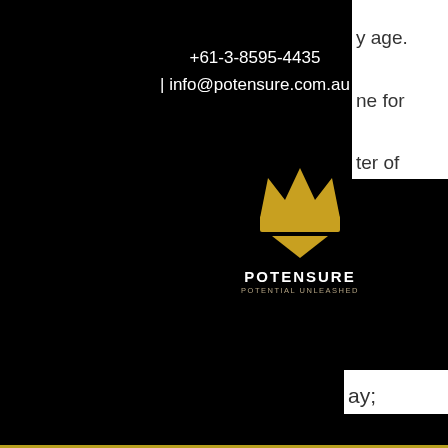+61-3-8595-4435 | info@potensure.com.au
[Figure (logo): Potensure crown logo with text POTENSURE POTENTIAL UNLEASHED]
e first anniversary of the day you register as eligible for full Medicare benefits.
If a person takes out hospital cover after their Lifetime Health Cover deadline they have to pay an extra 2% for each year they are aged over 30